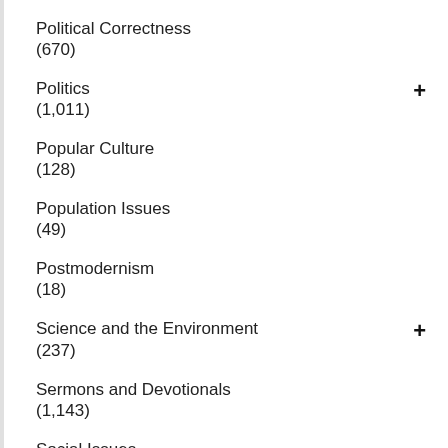Political Correctness
(670)
Politics
(1,011)
Popular Culture
(128)
Population Issues
(49)
Postmodernism
(18)
Science and the Environment
(237)
Sermons and Devotionals
(1,143)
Social Issues